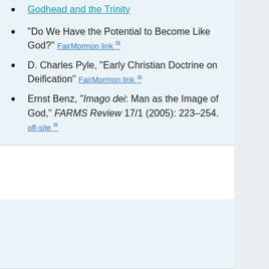Godhead and the Trinity
"Do We Have the Potential to Become Like God?" FairMormon link
D. Charles Pyle, "Early Christian Doctrine on Deification" FairMormon link
Ernst Benz, "Imago dei: Man as the Image of God," FARMS Review 17/1 (2005): 223–254. off-site